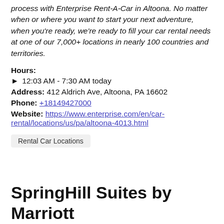process with Enterprise Rent-A-Car in Altoona. No matter when or where you want to start your next adventure, when you're ready, we're ready to fill your car rental needs at one of our 7,000+ locations in nearly 100 countries and territories.
Hours:
▶  12:03 AM - 7:30 AM today
Address: 412 Aldrich Ave, Altoona, PA 16602
Phone: +18149427000
Website: https://www.enterprise.com/en/car-rental/locations/us/pa/altoona-4013.html
Rental Car Locations
SpringHill Suites by Marriott State Coll